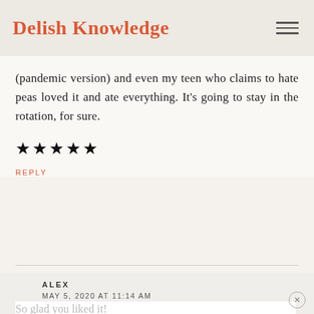Delish Knowledge
(pandemic version) and even my teen who claims to hate peas loved it and ate everything. It's going to stay in the rotation, for sure.
★★★★★
REPLY
ALEX
MAY 5, 2020 AT 11:14 AM
So glad you liked it!
REPLY